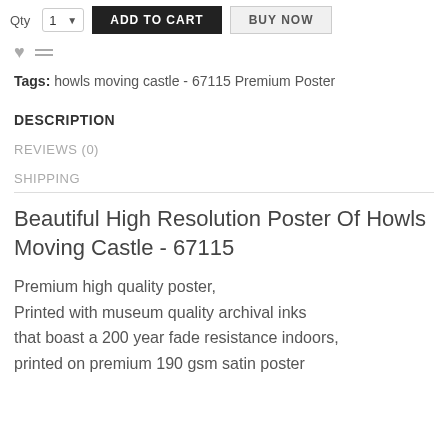Qty 1 ADD TO CART BUY NOW
Tags: howls moving castle - 67115 Premium Poster
DESCRIPTION
REVIEWS (0)
SHIPPING
Beautiful High Resolution Poster Of Howls Moving Castle - 67115
Premium high quality poster, Printed with museum quality archival inks that boast a 200 year fade resistance indoors, printed on premium 190 gsm satin poster